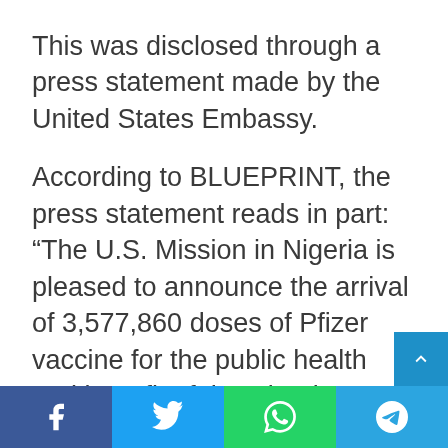This was disclosed through a press statement made by the United States Embassy.
According to BLUEPRINT, the press statement reads in part: “The U.S. Mission in Nigeria is pleased to announce the arrival of 3,577,860 doses of Pfizer vaccine for the public health and benefit of the Nigerian people through COVAX.